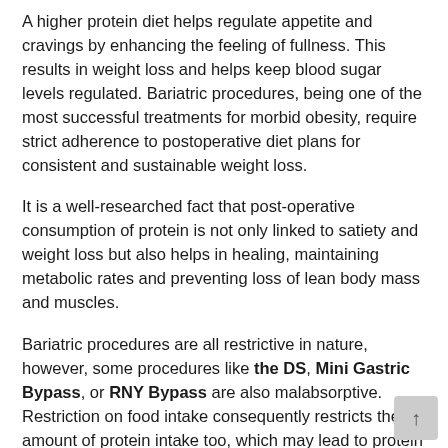A higher protein diet helps regulate appetite and cravings by enhancing the feeling of fullness. This results in weight loss and helps keep blood sugar levels regulated. Bariatric procedures, being one of the most successful treatments for morbid obesity, require strict adherence to postoperative diet plans for consistent and sustainable weight loss.
It is a well-researched fact that post-operative consumption of protein is not only linked to satiety and weight loss but also helps in healing, maintaining metabolic rates and preventing loss of lean body mass and muscles.
Bariatric procedures are all restrictive in nature, however, some procedures like the DS, Mini Gastric Bypass, or RNY Bypass are also malabsorptive. Restriction on food intake consequently restricts the amount of protein intake too, which may lead to protein deficiency in the body.